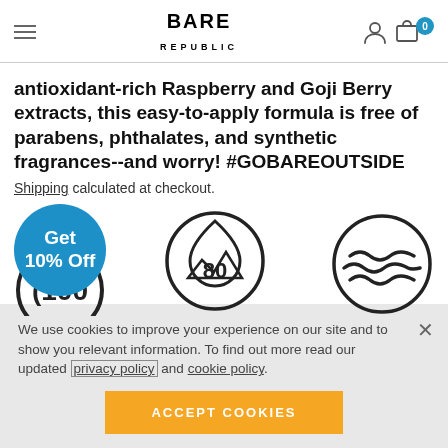BARE REPUBLIC
antioxidant-rich Raspberry and Goji Berry extracts, this easy-to-apply formula is free of parabens, phthalates, and synthetic fragrances--and worry! #GOBAREOUTSIDE
Shipping calculated at checkout.
[Figure (infographic): A blue circular badge reading 'Get 10% Off' overlapping product certification icons including SPF 100, SPF 80, and a water/wave symbol]
We use cookies to improve your experience on our site and to show you relevant information. To find out more read our updated privacy policy and cookie policy.
[Figure (other): ACCEPT COOKIES button in orange]